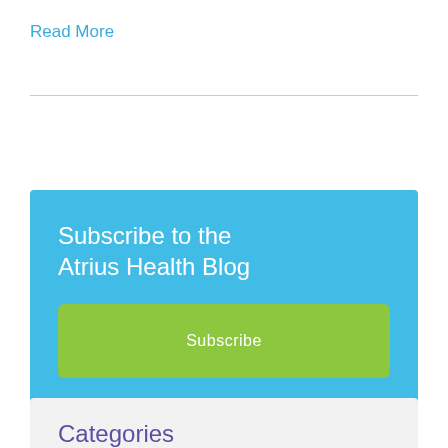Read More
Subscribe to the Atrius Health Blog
Subscribe
Categories